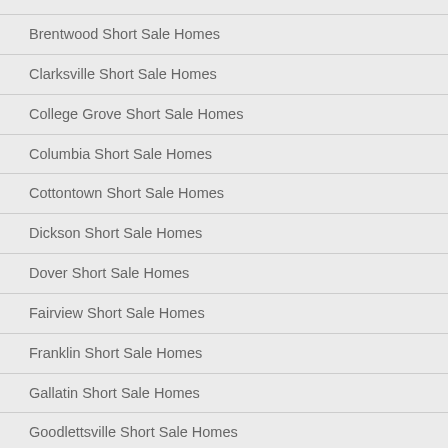Brentwood Short Sale Homes
Clarksville Short Sale Homes
College Grove Short Sale Homes
Columbia Short Sale Homes
Cottontown Short Sale Homes
Dickson Short Sale Homes
Dover Short Sale Homes
Fairview Short Sale Homes
Franklin Short Sale Homes
Gallatin Short Sale Homes
Goodlettsville Short Sale Homes